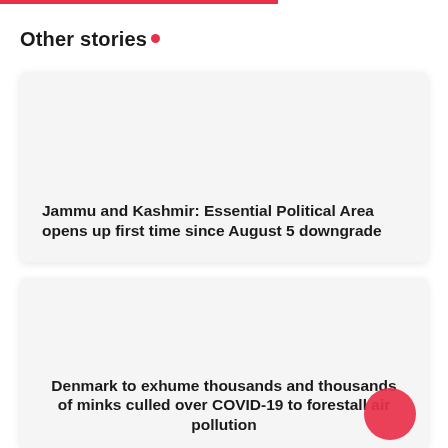Other stories •
Jammu and Kashmir: Essential Political Area opens up first time since August 5 downgrade
Denmark to exhume thousands and thousands of minks culled over COVID-19 to forestall air pollution